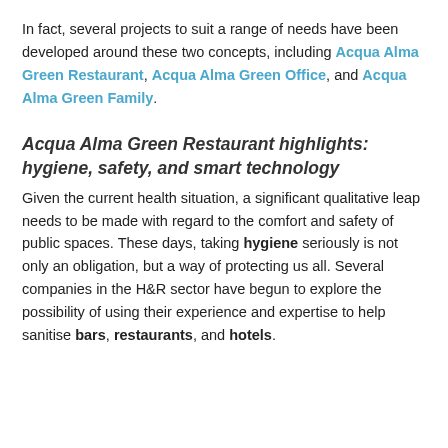In fact, several projects to suit a range of needs have been developed around these two concepts, including Acqua Alma Green Restaurant, Acqua Alma Green Office, and Acqua Alma Green Family.
Acqua Alma Green Restaurant highlights: hygiene, safety, and smart technology
Given the current health situation, a significant qualitative leap needs to be made with regard to the comfort and safety of public spaces. These days, taking hygiene seriously is not only an obligation, but a way of protecting us all. Several companies in the H&R sector have begun to explore the possibility of using their experience and expertise to help sanitise bars, restaurants, and hotels.